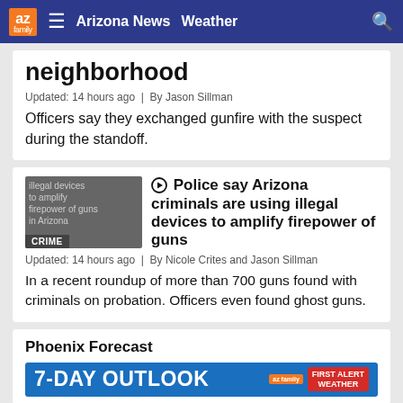az family | Arizona News | Weather
neighborhood
Updated: 14 hours ago  |  By Jason Sillman
Officers say they exchanged gunfire with the suspect during the standoff.
[Figure (photo): Thumbnail image with CRIME badge showing illegal devices to amplify firepower of guns in Arizona]
Police say Arizona criminals are using illegal devices to amplify firepower of guns
Updated: 14 hours ago  |  By Nicole Crites and Jason Sillman
In a recent roundup of more than 700 guns found with criminals on probation. Officers even found ghost guns.
Phoenix Forecast
7-DAY OUTLOOK